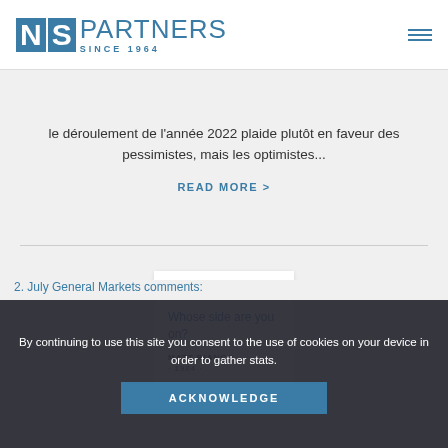[Figure (logo): NS Partners logo with blue NS block letters and 'PARTNERS SINCE 1964' text]
le déroulement de l'année 2022 plaide plutôt en faveur des pessimistes, mais les optimistes...
READ MORE >
[Figure (illustration): Album cover card for 'Whose side are you on?' by Matt Bianco, 1984]
2. July General Markets comments:
July General Markets... Whose Side Are...
By continuing to use this site you consent to the use of cookies on your device in order to gather stats.
ACKNOWLEDGE